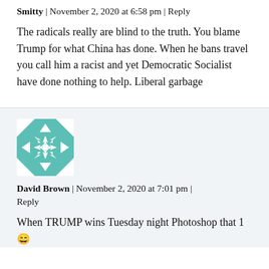Smitty | November 2, 2020 at 6:58 pm | Reply
The radicals really are blind to the truth. You blame Trump for what China has done. When he bans travel you call him a racist and yet Democratic Socialist have done nothing to help. Liberal garbage
[Figure (illustration): Teal/green geometric quilt-pattern avatar icon for David Brown]
David Brown | November 2, 2020 at 7:01 pm | Reply
When TRUMP wins Tuesday night Photoshop that 1 😄